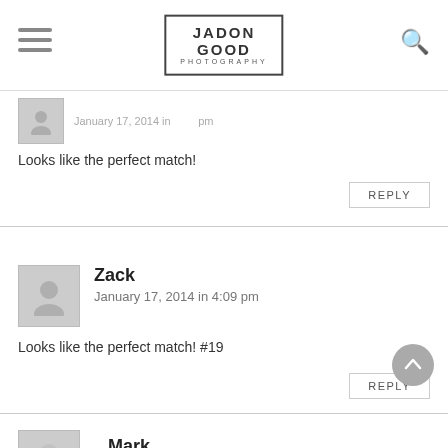JADON GOOD PHOTOGRAPHY
Looks like the perfect match!
REPLY
Zack
January 17, 2014 in 4:09 pm
Looks like the perfect match! #19
REPLY
Mark